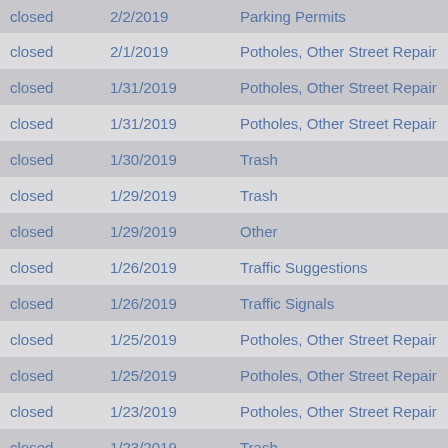| Status | Date | Category |
| --- | --- | --- |
| closed | 2/2/2019 | Parking Permits |
| closed | 2/1/2019 | Potholes, Other Street Repair |
| closed | 1/31/2019 | Potholes, Other Street Repair |
| closed | 1/31/2019 | Potholes, Other Street Repair |
| closed | 1/30/2019 | Trash |
| closed | 1/29/2019 | Trash |
| closed | 1/29/2019 | Other |
| closed | 1/26/2019 | Traffic Suggestions |
| closed | 1/26/2019 | Traffic Signals |
| closed | 1/25/2019 | Potholes, Other Street Repair |
| closed | 1/25/2019 | Potholes, Other Street Repair |
| closed | 1/23/2019 | Potholes, Other Street Repair |
| closed | 1/23/2019 | Trash |